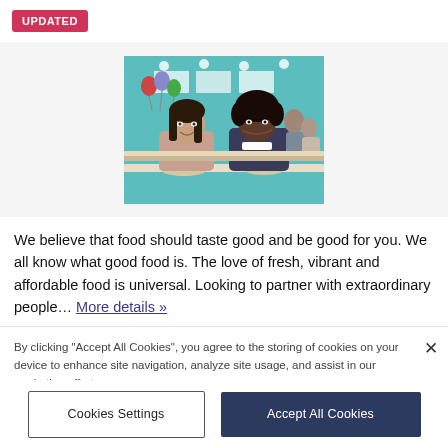UPDATED
[Figure (photo): Two smiling women sitting at a table in a bright, colorful restaurant with balloons and food in the background.]
We believe that food should taste good and be good for you. We all know what good food is. The love of fresh, vibrant and affordable food is universal. Looking to partner with extraordinary people… More details »
By clicking "Accept All Cookies", you agree to the storing of cookies on your device to enhance site navigation, analyze site usage, and assist in our marketing efforts.
Cookie Policy
Cookies Settings
Accept All Cookies